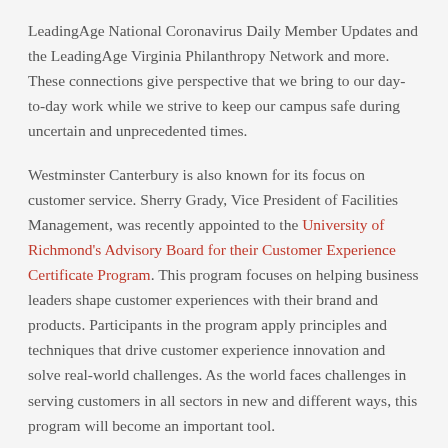LeadingAge National Coronavirus Daily Member Updates and the LeadingAge Virginia Philanthropy Network and more. These connections give perspective that we bring to our day-to-day work while we strive to keep our campus safe during uncertain and unprecedented times.
Westminster Canterbury is also known for its focus on customer service. Sherry Grady, Vice President of Facilities Management, was recently appointed to the University of Richmond's Advisory Board for their Customer Experience Certificate Program. This program focuses on helping business leaders shape customer experiences with their brand and products. Participants in the program apply principles and techniques that drive customer experience innovation and solve real-world challenges. As the world faces challenges in serving customers in all sectors in new and different ways, this program will become an important tool.